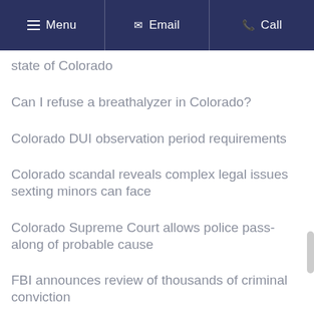Menu | Email | Call
state of Colorado
Can I refuse a breathalyzer in Colorado?
Colorado DUI observation period requirements
Colorado scandal reveals complex legal issues sexting minors can face
Colorado Supreme Court allows police pass-along of probable cause
FBI announces review of thousands of criminal conviction
Hundreds of arrests in Colorado DUI crackdown, more to come in 2014
Marijuana's effect on driving